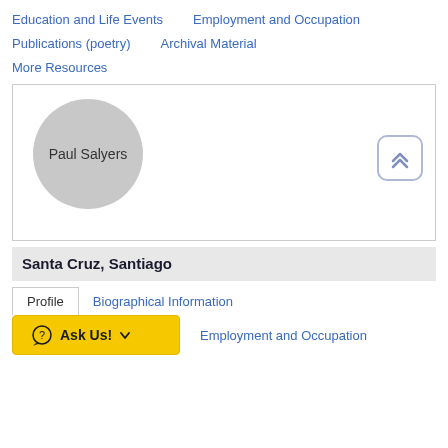Education and Life Events
Employment and Occupation
Publications (poetry)
Archival Material
More Resources
[Figure (illustration): Profile placeholder circle with name 'Paul Salyers' and a scroll-to-top button with chevron arrows]
Santa Cruz, Santiago
Profile
Biographical Information
Ask Us!
Employment and Occupation